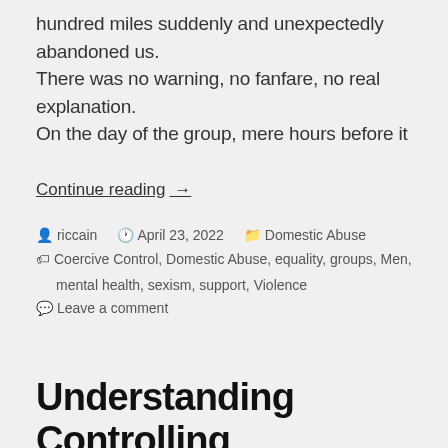hundred miles suddenly and unexpectedly abandoned us. There was no warning, no fanfare, no real explanation. On the day of the group, mere hours before it
Continue reading →
riccain  April 23, 2022  Domestic Abuse  Coercive Control, Domestic Abuse, equality, groups, Men, mental health, sexism, support, Violence  Leave a comment
Understanding Controlling and Coercive Behaviour (by a survivor)